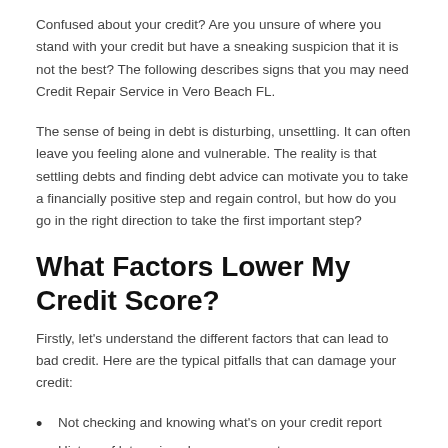Confused about your credit? Are you unsure of where you stand with your credit but have a sneaking suspicion that it is not the best? The following describes signs that you may need Credit Repair Service in Vero Beach FL.
The sense of being in debt is disturbing, unsettling. It can often leave you feeling alone and vulnerable. The reality is that settling debts and finding debt advice can motivate you to take a financially positive step and regain control, but how do you go in the right direction to take the first important step?
What Factors Lower My Credit Score?
Firstly, let's understand the different factors that can lead to bad credit. Here are the typical pitfalls that can damage your credit:
Not checking and knowing what's on your credit report
History of late, missed or no payments